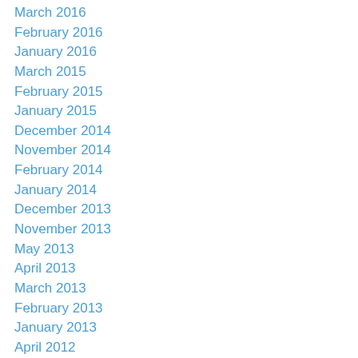March 2016
February 2016
January 2016
March 2015
February 2015
January 2015
December 2014
November 2014
February 2014
January 2014
December 2013
November 2013
May 2013
April 2013
March 2013
February 2013
January 2013
April 2012
March 2012
February 2012